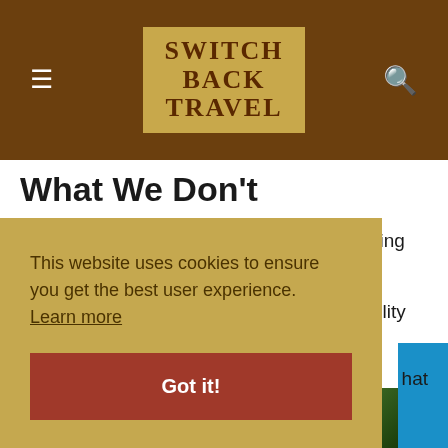SWITCH BACK TRAVEL
What We Don't
Expensive at $299, especially considering the lower-grade Gore-Tex membrane.
No pit zips or core vents, and breathability falls
This website uses cookies to ensure you get the best user experience. Learn more
Got it!